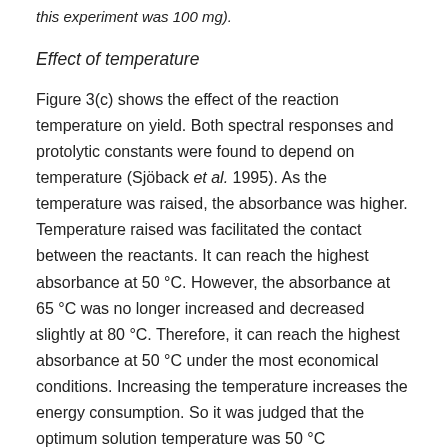this experiment was 100 mg).
Effect of temperature
Figure 3(c) shows the effect of the reaction temperature on yield. Both spectral responses and protolytic constants were found to depend on temperature (Sjöback et al. 1995). As the temperature was raised, the absorbance was higher. Temperature raised was facilitated the contact between the reactants. It can reach the highest absorbance at 50 °C. However, the absorbance at 65 °C was no longer increased and decreased slightly at 80 °C. Therefore, it can reach the highest absorbance at 50 °C under the most economical conditions. Increasing the temperature increases the energy consumption. So it was judged that the optimum solution temperature was 50 °C